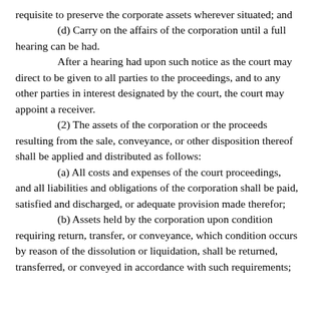requisite to preserve the corporate assets wherever situated; and
(d) Carry on the affairs of the corporation until a full hearing can be had.
After a hearing had upon such notice as the court may direct to be given to all parties to the proceedings, and to any other parties in interest designated by the court, the court may appoint a receiver.
(2) The assets of the corporation or the proceeds resulting from the sale, conveyance, or other disposition thereof shall be applied and distributed as follows:
(a) All costs and expenses of the court proceedings, and all liabilities and obligations of the corporation shall be paid, satisfied and discharged, or adequate provision made therefor;
(b) Assets held by the corporation upon condition requiring return, transfer, or conveyance, which condition occurs by reason of the dissolution or liquidation, shall be returned, transferred, or conveyed in accordance with such requirements;